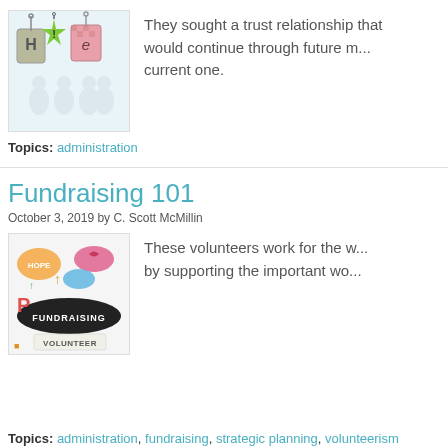[Figure (photo): Colorful hanging tags with letters H, I, e on white figure background - hiring concept]
They sought a trust relationship that would continue through future m... current one.
Topics: administration
Fundraising 101
October 3, 2019 by C. Scott McMillin
[Figure (photo): Fundraising volunteer colorful illustration with speech bubbles and FUNDRAISING text]
These volunteers work for the w... by supporting the important wo...
Topics: administration, fundraising, strategic planning, volunteerism